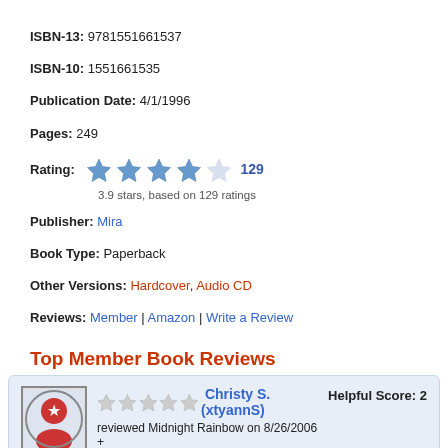ISBN-13: 9781551661537
ISBN-10: 1551661535
Publication Date: 4/1/1996
Pages: 249
Rating: 3.9 stars, based on 129 ratings
Publisher: Mira
Book Type: Paperback
Other Versions: Hardcover, Audio CD
Reviews: Member | Amazon | Write a Review
Top Member Book Reviews
Christy S. (xtyannS) reviewed Midnight Rainbow on 8/26/2006 + 25 more book reviews. Helpful Score: 2. Yet, another great book by Linda Howard, Grant and Jane are